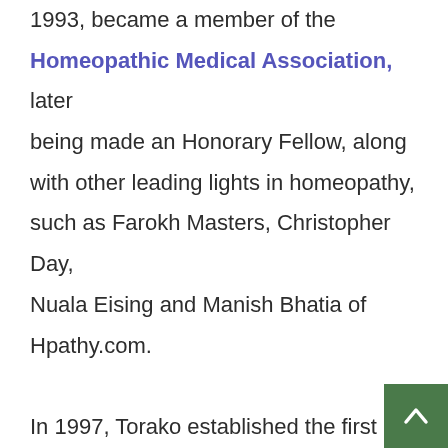1993, became a member of the Homeopathic Medical Association, later being made an Honorary Fellow, along with other leading lights in homeopathy, such as Farokh Masters, Christopher Day, Nuala Eising and Manish Bhatia of Hpathy.com.

In 1997, Torako established the first homeopathic college in Japan, the Japan Royal Academy of Homoeopathy (RAH), which has since graduated 800 students